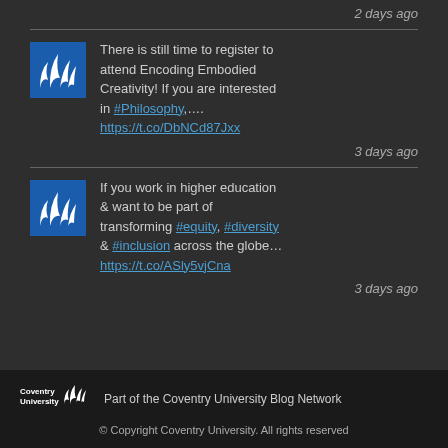2 days ago
[Figure (logo): Coventry University flame logo (blue square with white flame)]
There is still time to register to attend Encoding Embodied Creativity! If you are interested in #Philosophy,…. https://t.co/DbNCd87Jxx
3 days ago
[Figure (logo): Coventry University flame logo (blue square with white flame)]
If you work in higher education & want to be part of transforming #equity, #diversity & #inclusion across the globe… https://t.co/ASly5vjCna
3 days ago
[Figure (logo): Coventry University footer logo with flame and text]
Part of the Coventry University Blog Network
© Copyright Coventry University. All rights reserved